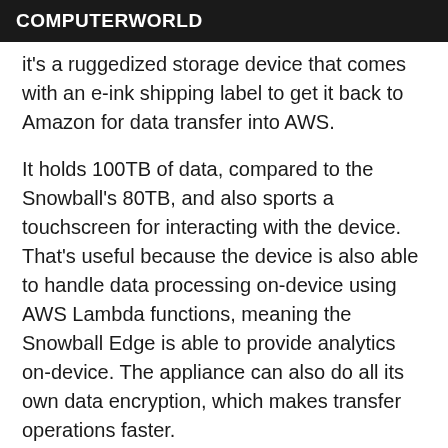COMPUTERWORLD
it's a ruggedized storage device that comes with an e-ink shipping label to get it back to Amazon for data transfer into AWS.
It holds 100TB of data, compared to the Snowball's 80TB, and also sports a touchscreen for interacting with the device. That's useful because the device is also able to handle data processing on-device using AWS Lambda functions, meaning the Snowball Edge is able to provide analytics on-device. The appliance can also do all its own data encryption, which makes transfer operations faster.
The Snowball Edge was designed to be useful for situations like research boats that don't have internet